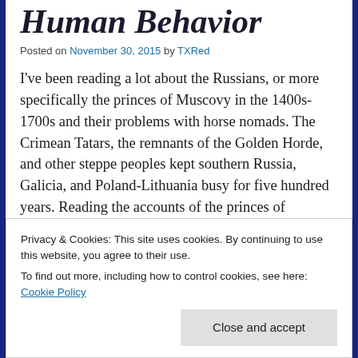Human Behavior
Posted on November 30, 2015 by TXRed
I've been reading a lot about the Russians, or more specifically the princes of Muscovy in the 1400s-1700s and their problems with horse nomads. The Crimean Tatars, the remnants of the Golden Horde, and other steppe peoples kept southern Russia, Galicia, and Poland-Lithuania busy for five hundred years. Reading the accounts of the princes of Muscovy as they tried to deal with the horse nomads, it almost seems...
Privacy & Cookies: This site uses cookies. By continuing to use this website, you agree to their use.
To find out more, including how to control cookies, see here: Cookie Policy